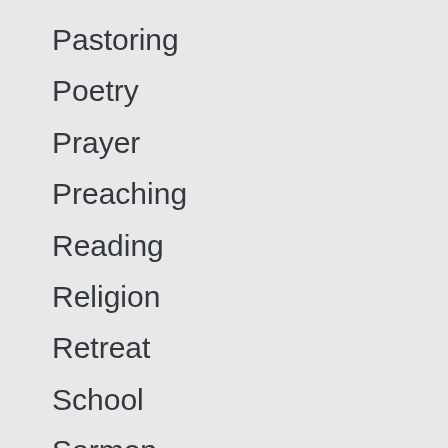Pastoring
Poetry
Prayer
Preaching
Reading
Religion
Retreat
School
Sermon
Serving
Singleness
Small Groups
Speaking